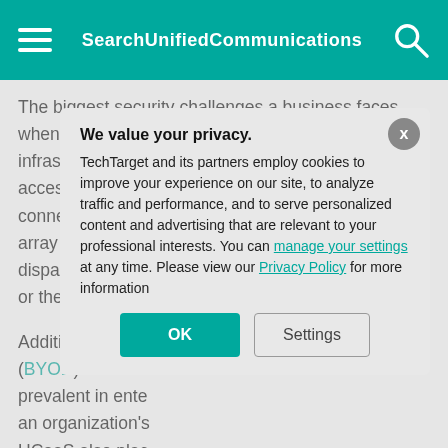SearchUnifiedCommunications
The biggest security challenges a business faces when implementing and maintaining its UC infrastructure are managing users' identities and access and securing data. UC strategies focus on connecting disparate technologies operating on an array of different networks, so the disparate access or the network o
Additionally, UCa (BYOD) environm prevalent in ente an organization's UCaaS also plac responsibilities i requires an orga practices of the s
We value your privacy. TechTarget and its partners employ cookies to improve your experience on our site, to analyze traffic and performance, and to serve personalized content and advertising that are relevant to your professional interests. You can manage your settings at any time. Please view our Privacy Policy for more information